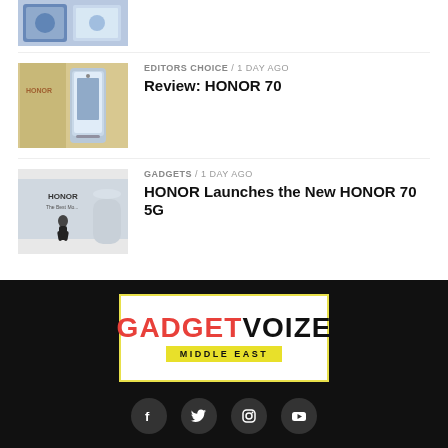[Figure (photo): Partial thumbnail of a smartphone/tech product at top of page]
EDITORS CHOICE / 1 day ago
Review: HONOR 70
[Figure (photo): HONOR 70 smartphone with box on a wooden table]
GADGETS / 1 day ago
HONOR Launches the New HONOR 70 5G
[Figure (photo): HONOR 70 5G launch event with presenter on stage]
[Figure (logo): GADGETVOIZE MIDDLE EAST logo in white box with yellow border]
[Figure (infographic): Social media icons: Facebook, Twitter, Instagram, YouTube]